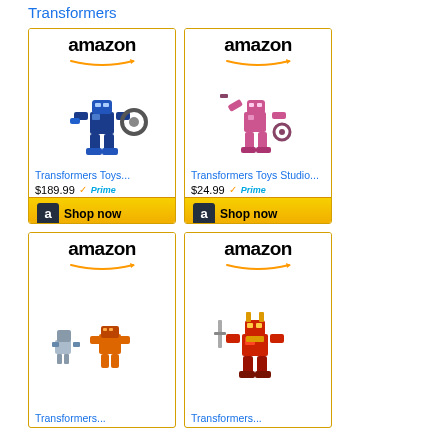Transformers
[Figure (screenshot): Amazon ad card for Transformers Toys showing blue robot toy, price $189.99 with Prime badge, Shop now button]
[Figure (screenshot): Amazon ad card for Transformers Toys Studio showing pink robot toy, price $24.99 with Prime badge, Shop now button]
[Figure (screenshot): Amazon ad card for Transformers showing two robot toys]
[Figure (screenshot): Amazon ad card for Transformers showing red/yellow robot toy]